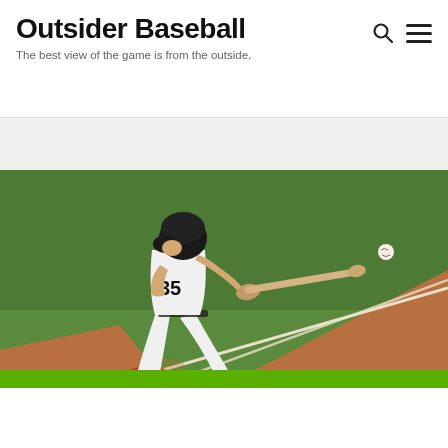Outsider Baseball — The best view of the game is from the outside.
[Figure (illustration): Illustration of a baseball batter in a white uniform with number 35 swinging a bat at a baseball, set against a green outfield wall background with a brown dirt infield and white basepath lines. The batter wears red cleats and a black helmet.]